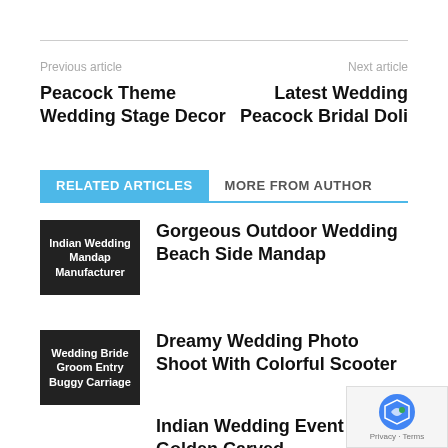Previous article
Next article
Peacock Theme Wedding Stage Decor
Latest Wedding Peacock Bridal Doli
RELATED ARTICLES
MORE FROM AUTHOR
[Figure (photo): Indian Wedding Mandap Manufacturer thumbnail]
Gorgeous Outdoor Wedding Beach Side Mandap
[Figure (photo): Wedding Bride Groom Entry Buggy Carriage thumbnail]
Dreamy Wedding Photo Shoot With Colorful Scooter
Indian Wedding Event Golden Carved